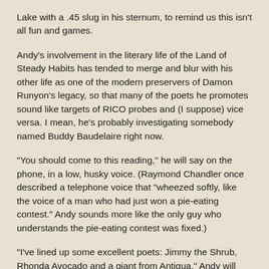Lake with a .45 slug in his sternum, to remind us this isn't all fun and games.
Andy's involvement in the literary life of the Land of Steady Habits has tended to merge and blur with his other life as one of the modern preservers of Damon Runyon's legacy, so that many of the poets he promotes sound like targets of RICO probes and (I suppose) vice versa. I mean, he's probably investigating somebody named Buddy Baudelaire right now.
"You should come to this reading," he will say on the phone, in a low, husky voice. (Raymond Chandler once described a telephone voice that "wheezed softly, like the voice of a man who had just won a pie-eating contest." Andy sounds more like the only guy who understands the pie-eating contest was fixed.)
"I've lined up some excellent poets: Jimmy the Shrub, Rhonda Avocado and a giant from Antigua," Andy will say. (I've met the giant. He's 6-foot-4.)